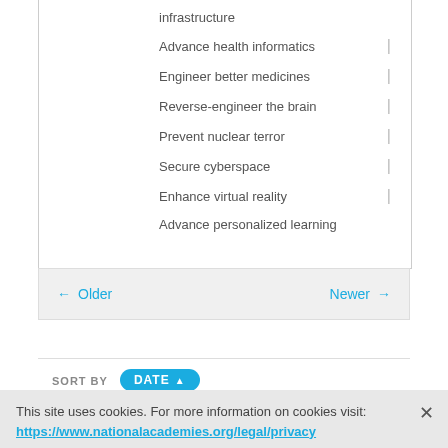infrastructure
Advance health informatics
Engineer better medicines
Reverse-engineer the brain
Prevent nuclear terror
Secure cyberspace
Enhance virtual reality
Advance personalized learning
← Older   Newer →
SORT BY  DATE ▲
This site uses cookies. For more information on cookies visit: https://www.nationalacademies.org/legal/privacy